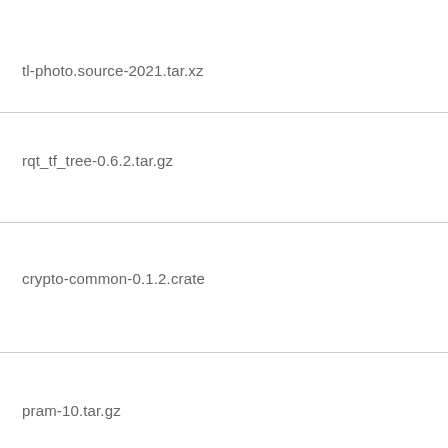tl-photo.source-2021.tar.xz
rqt_tf_tree-0.6.2.tar.gz
crypto-common-0.1.2.crate
pram-10.tar.gz